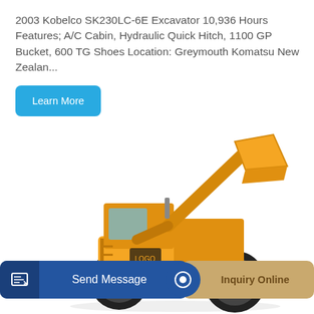2003 Kobelco SK230LC-6E Excavator 10,936 Hours Features; A/C Cabin, Hydraulic Quick Hitch, 1100 GP Bucket, 600 TG Shoes Location: Greymouth Komatsu New Zealan...
Learn More
[Figure (photo): Yellow wheel loader / front-end loader construction machine on white background, viewed from the side at a slight angle. The bucket is raised high.]
Send Message
Inquiry Online